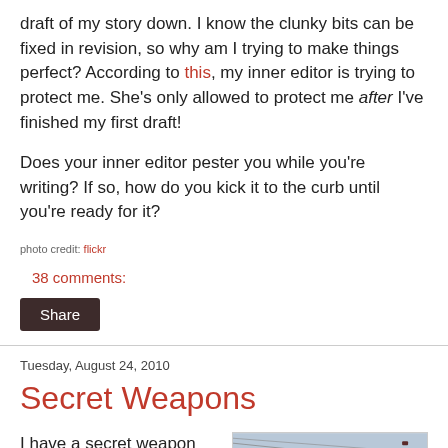draft of my story down. I know the clunky bits can be fixed in revision, so why am I trying to make things perfect? According to this, my inner editor is trying to protect me. She's only allowed to protect me after I've finished my first draft!
Does your inner editor pester you while you're writing? If so, how do you kick it to the curb until you're ready for it?
photo credit: flickr
38 comments:
Share
Tuesday, August 24, 2010
Secret Weapons
I have a secret weapon when it comes to writing: my boys.
[Figure (photo): Children wearing helmets in a sandy/desert outdoor setting]